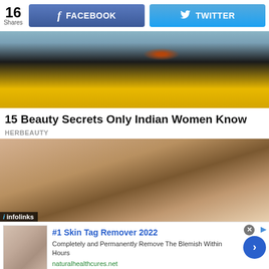16 Shares | FACEBOOK | TWITTER
[Figure (photo): Photo of an Indian woman in yellow traditional dress with dark dupatta, jewelry including a choker necklace and earrings, outdoors]
15 Beauty Secrets Only Indian Women Know
HERBEAUTY
[Figure (photo): Close-up photo of a woman's eyes with dramatic eye makeup including winged eyeliner and thick eyebrows]
infolinks
#1 Skin Tag Remover 2022
Completely and Permanently Remove The Blemish Within Hours
naturalhealthcures.net